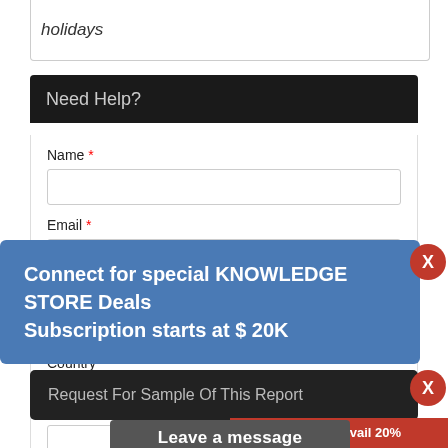holidays
Need Help?
Name *
Email *
Country *
Connect for special KNOWLEDGE STORE Deals
Subscription starts at $ 20K
Request For Sample Of This Report
Buy Any Report Avail 20%
 Code:
Leave a message